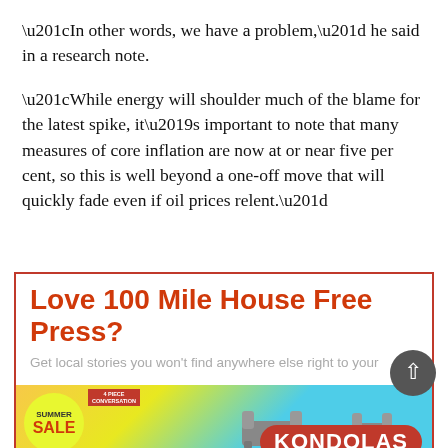“In other words, we have a problem,” he said in a research note.
“While energy will shoulder much of the blame for the latest spike, it’s important to note that many measures of core inflation are now at or near five per cent, so this is well beyond a one-off move that will quickly fade even if oil prices relent.”
[Figure (other): Advertisement for 100 Mile House Free Press subscription with Kondolas furniture sale banner showing patio furniture on a colorful background]